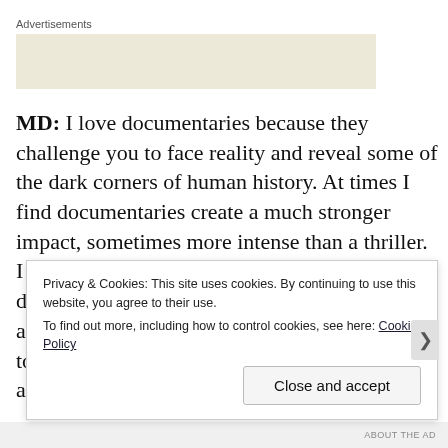Advertisements
[Figure (other): Advertisement placeholder box with beige/tan background]
MD: I love documentaries because they challenge you to face reality and reveal some of the dark corners of human history. At times I find documentaries create a much stronger impact, sometimes more intense than a thriller. I think filmmakers that are interested in documentary films feel a social responsibility and want things to change for the better. I want to make things for the better and that's why I am passionate about
Privacy & Cookies: This site uses cookies. By continuing to use this website, you agree to their use.
To find out more, including how to control cookies, see here: Cookie Policy
Close and accept